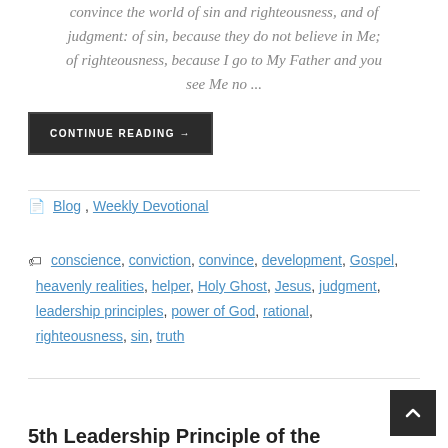convince the world of sin and righteousness, and of judgment: of sin, because they do not believe in Me; of righteousness, because I go to My Father and you see Me no ...
CONTINUE READING →
📄 Blog, Weekly Devotional
🏷 conscience, conviction, convince, development, Gospel, heavenly realities, helper, Holy Ghost, Jesus, judgment, leadership principles, power of God, rational, righteousness, sin, truth
5th Leadership Principle of the